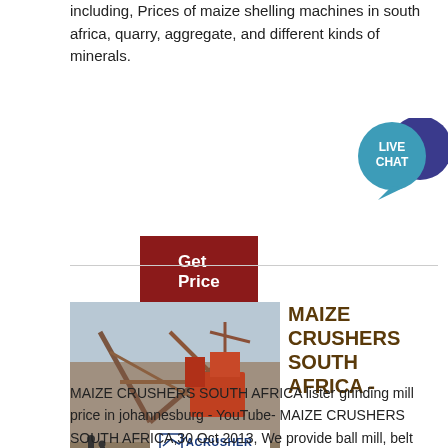including, Prices of maize shelling machines in south africa, quarry, aggregate, and different kinds of minerals.
[Figure (other): Dark red 'Get Price' button]
[Figure (other): Live Chat bubble icon in teal and dark blue]
[Figure (photo): Industrial crusher machinery at a construction site, with ACRUSHER Mining Equipment badge overlay]
MAIZE CRUSHERS SOUTH AFRICA -
bovenindewolken
MAIZE CRUSHERS SOUTH AFRICA lister grinding mill price in johannesburg - YouTube- MAIZE CRUSHERS SOUTH AFRICA,30 Oct 2013, We provide ball mill, belt conveyor, washer machine, jaw crusher, vibrating screen